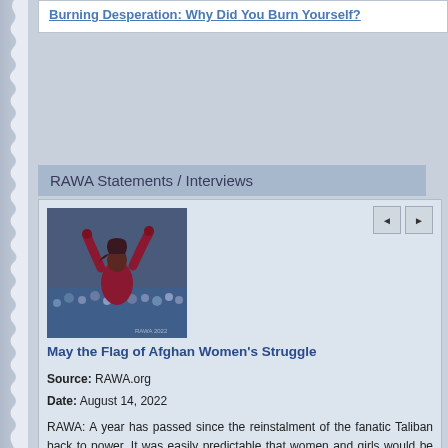Burning Desperation: Why Did You Burn Yourself?
RAWA Statements / Interviews
[Figure (photo): A person in dark red/maroon clothing with arms raised against a crowd background]
May the Flag of Afghan Women's Struggle
Source: RAWA.org
Date: August 14, 2022
RAWA: A year has passed since the reinstalment of the fanatic Taliban back to power. It was easily predictable that women and girls would be the prime victims of this barbaric rule and are facing